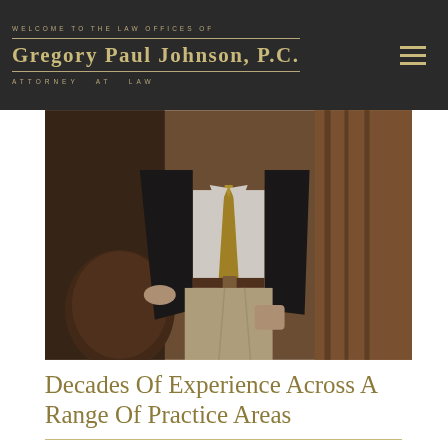WELCOME TO THE LAW OFFICES OF Gregory Paul Johnson, P.C. ATTORNEY AT LAW
[Figure (photo): A man in a dark suit jacket with a gold tie and khaki pants, standing near a wooden door and leather chair, partial body shot from waist up and below]
Decades Of Experience Across A Range Of Practice Areas